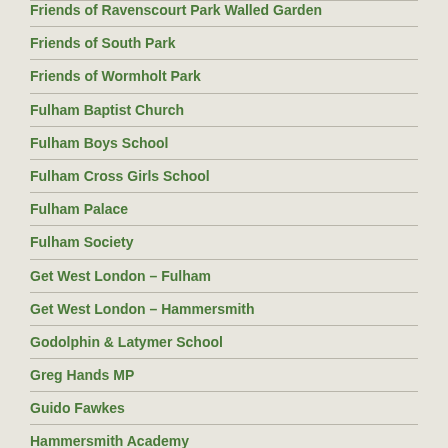Friends of Ravenscourt Park Walled Garden
Friends of South Park
Friends of Wormholt Park
Fulham Baptist Church
Fulham Boys School
Fulham Cross Girls School
Fulham Palace
Fulham Society
Get West London – Fulham
Get West London – Hammersmith
Godolphin & Latymer School
Greg Hands MP
Guido Fawkes
Hammersmith Academy
Hammersmith and Fuham Volunteer Centre